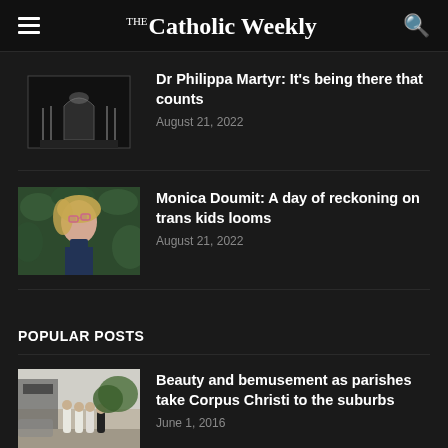The Catholic Weekly
Dr Philippa Martyr: It's being there that counts
August 21, 2022
Monica Doumit: A day of reckoning on trans kids looms
August 21, 2022
POPULAR POSTS
Beauty and bemusement as parishes take Corpus Christi to the suburbs
June 1, 2016